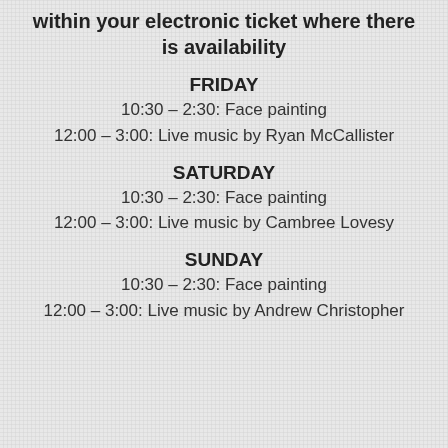within your electronic ticket where there is availability
FRIDAY
10:30 – 2:30: Face painting
12:00 – 3:00: Live music by Ryan McCallister
SATURDAY
10:30 – 2:30: Face painting
12:00 – 3:00: Live music by Cambree Lovesy
SUNDAY
10:30 – 2:30: Face painting
12:00 – 3:00: Live music by Andrew Christopher